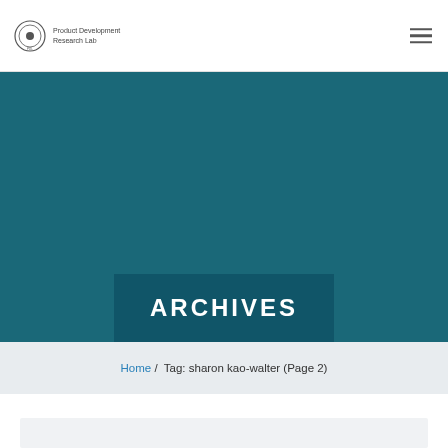Product Development Research Lab
ARCHIVES
Home /  Tag: sharon kao-walter (Page 2)